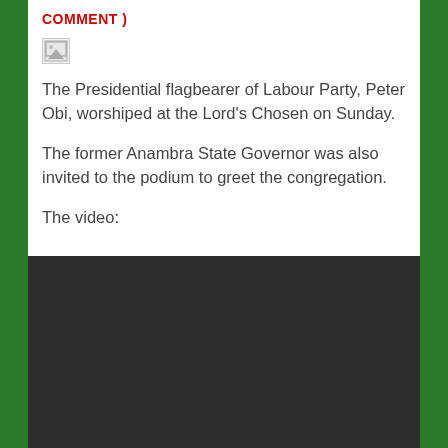COMMENT )
[Figure (photo): Broken image placeholder icon]
The Presidential flagbearer of Labour Party, Peter Obi, worshiped at the Lord's Chosen on Sunday.
The former Anambra State Governor was also invited to the podium to greet the congregation.
The video:
[Figure (screenshot): Embedded dark video player area]